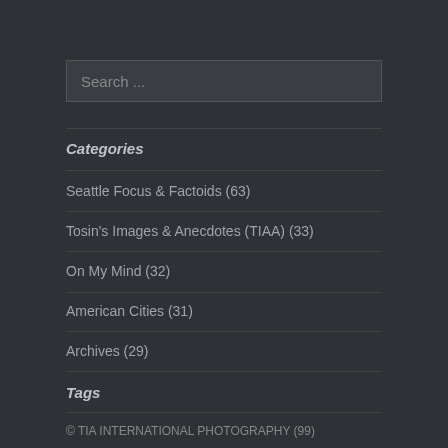Search ...
Categories
Seattle Focus & Factoids (63)
Tosin's Images & Anecdotes (TIAA) (33)
On My Mind (32)
American Cities (31)
Archives (29)
Tags
© TIA INTERNATIONAL PHOTOGRAPHY (99)